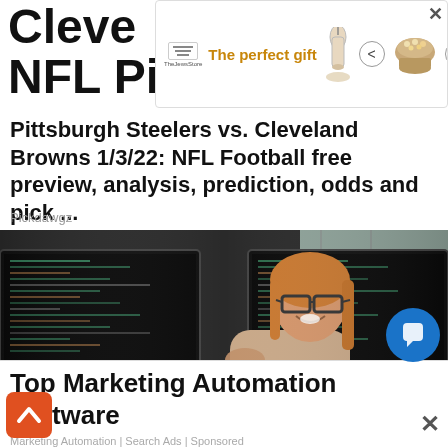Cleve... 1/3/22 NFL Pi...
[Figure (other): Advertisement banner: The perfect gift — TheJewsStore logo, candle, navigation arrows, bowl of popcorn, 35% OFF + FREE SHIPPING badge, close X button]
Pittsburgh Steelers vs. Cleveland Browns 1/3/22: NFL Football free preview, analysis, prediction, odds and pick ...
Pickdawgz
[Figure (photo): Woman with glasses smiling, sitting at desk with multiple computer monitors showing code/terminal screens]
Top Marketing Automation Software
Marketing Automation | Search Ads | Sponsored
[Figure (other): Blue circular chat/messaging button]
[Figure (other): Orange/red scroll-up chevron button]
[Figure (other): Close X button for bottom ad]